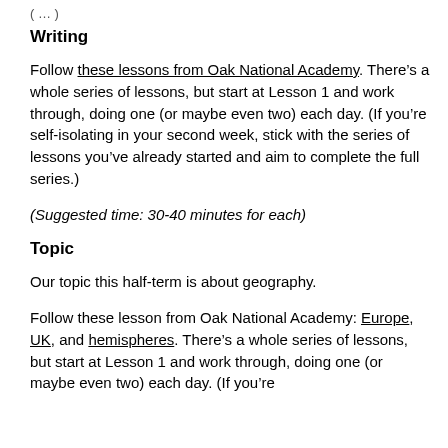( … )
Writing
Follow these lessons from Oak National Academy. There's a whole series of lessons, but start at Lesson 1 and work through, doing one (or maybe even two) each day. (If you're self-isolating in your second week, stick with the series of lessons you've already started and aim to complete the full series.)
(Suggested time: 30-40 minutes for each)
Topic
Our topic this half-term is about geography.
Follow these lesson from Oak National Academy: Europe, UK, and hemispheres. There's a whole series of lessons, but start at Lesson 1 and work through, doing one (or maybe even two) each day. (If you're